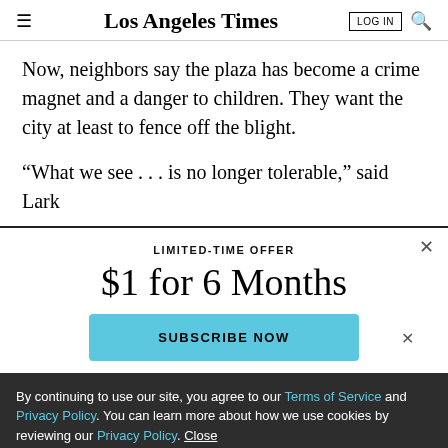Los Angeles Times | LOG IN | Search
Now, neighbors say the plaza has become a crime magnet and a danger to children. They want the city at least to fence off the blight.
“What we see . . . is no longer tolerable,” said Lark
LIMITED-TIME OFFER
$1 for 6 Months
SUBSCRIBE NOW
By continuing to use our site, you agree to our Terms of Service and Privacy Policy. You can learn more about how we use cookies by reviewing our Privacy Policy. Close